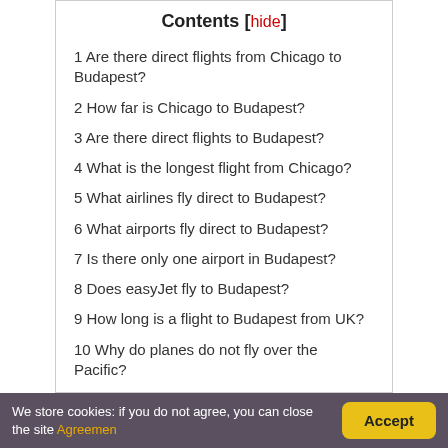Contents [hide]
1 Are there direct flights from Chicago to Budapest?
2 How far is Chicago to Budapest?
3 Are there direct flights to Budapest?
4 What is the longest flight from Chicago?
5 What airlines fly direct to Budapest?
6 What airports fly direct to Budapest?
7 Is there only one airport in Budapest?
8 Does easyJet fly to Budapest?
9 How long is a flight to Budapest from UK?
10 Why do planes do not fly over the Pacific?
We store cookies: if you do not agree, you can close the site Agreemen